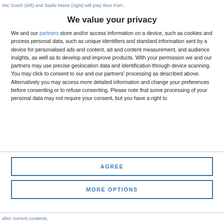Mic Guich (left) and Sadie Marie (right) will play their Part...
We value your privacy
We and our partners store and/or access information on a device, such as cookies and process personal data, such as unique identifiers and standard information sent by a device for personalised ads and content, ad and content measurement, and audience insights, as well as to develop and improve products. With your permission we and our partners may use precise geolocation data and identification through device scanning. You may click to consent to our and our partners' processing as described above. Alternatively you may access more detailed information and change your preferences before consenting or to refuse consenting. Please note that some processing of your personal data may not require your consent, but you have a right to
AGREE
MORE OPTIONS
after current contents.